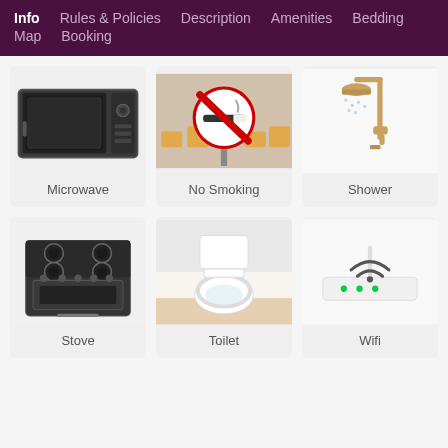Info  Rules & Policies  Description  Amenities  Bedding  Map  Booking
[Figure (illustration): Microwave oven illustration]
Microwave
[Figure (illustration): No Smoking sign illustration]
No Smoking
[Figure (illustration): Shower fixture illustration]
Shower
[Figure (illustration): Stove illustration]
Stove
[Figure (illustration): Toilet illustration]
Toilet
[Figure (illustration): Wifi router illustration]
Wifi